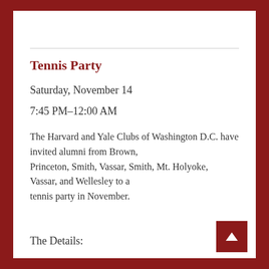Tennis Party
Saturday, November 14
7:45 PM–12:00 AM
The Harvard and Yale Clubs of Washington D.C. have invited alumni from Brown, Princeton, Smith, Vassar, Smith, Mt. Holyoke, Vassar, and Wellesley to a tennis party in November.
The Details: